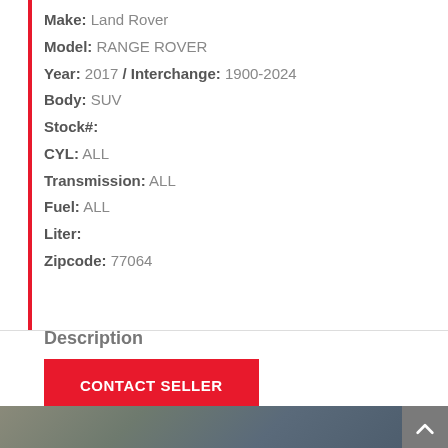Make: Land Rover
Model: RANGE ROVER
Year: 2017 / Interchange: 1900-2024
Body: SUV
Stock#:
CYL: ALL
Transmission: ALL
Fuel: ALL
Liter:
Zipcode: 77064
Description
CONTACT SELLER
[Figure (photo): Partial view of a salvage vehicle on a rack, showing undercarriage and debris in background]